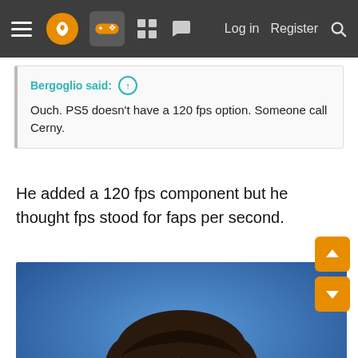Navigation bar with hamburger menu, logo, gamepad icon, grid icon, chat icon, Log in, Register, Search
Bergoglio said: ↑
Ouch. PS5 doesn't have a 120 fps option. Someone call Cerny.
He added a 120 fps component but he thought fps stood for faps per second.
[Figure (photo): Close-up photo of a man with dark brown bowl-cut hair and intense dark eyes against a blue background, appearing to be Mark Cerny]